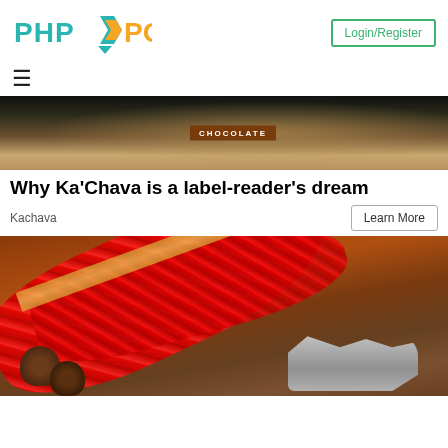[Figure (logo): PHPDPoint logo with teal and orange colors]
Login/Register
≡
[Figure (photo): Close-up of Ka'Chava chocolate product bag]
Why Ka'Chava is a label-reader's dream
Kachava
Learn More
[Figure (photo): Red glittery ribbon on wooden surface with pine cones and metal tool]